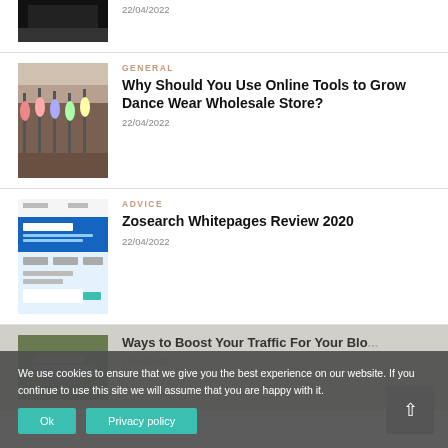[Figure (photo): Partial top image, dark/black photo, cropped]
22/04/2022
[Figure (photo): Dance wear store interior with colorful clothing on racks]
GENERAL
Why Should You Use Online Tools to Grow Dance Wear Wholesale Store?
22/04/2022
[Figure (screenshot): Zosearch Whitepages website screenshot with blue background and White pages header]
ADVICE
Zosearch Whitepages Review 2020
22/04/2022
[Figure (photo): Hands typing on laptop keyboard, blog traffic article thumbnail]
Ways to Boost Your Traffic For Your Blo...
22/04/2022
We use cookies to ensure that we give you the best experience on our website. If you continue to use this site we will assume that you are happy with it.